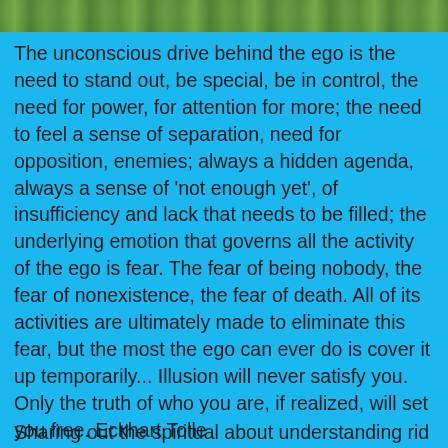[Figure (photo): Cropped top edge of a nature/outdoor photo showing green foliage or landscape]
The unconscious drive behind the ego is the need to stand out, be special, be in control, the need for power, for attention for more; the need to feel a sense of separation, need for opposition, enemies; always a hidden agenda, always a sense of 'not enough yet', of insufficiency and lack that needs to be filled; the underlying emotion that governs all the activity of the ego is fear. The fear of being nobody, the fear of nonexistence, the fear of death. All of its activities are ultimately made to eliminate this fear, but the most the ego can ever do is cover it up temporarily... Illusion will never satisfy you. Only the truth of who you are, if realized, will set you free. Eckhart Tolle
Sharing out the spiritual about understanding rid